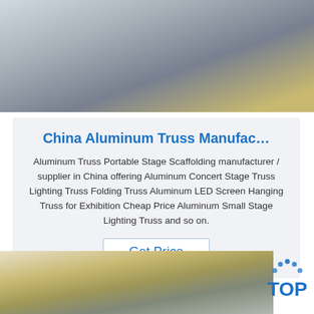[Figure (photo): Photo of aluminum/metal sheets stacked, seen from above at an angle, with metallic grey and golden-brown colors.]
China Aluminum Truss Manufac…
Aluminum Truss Portable Stage Scaffolding manufacturer / supplier in China offering Aluminum Concert Stage Truss Lighting Truss Folding Truss Aluminum LED Screen Hanging Truss for Exhibition Cheap Price Aluminum Small Stage Lighting Truss and so on.
Get Price
[Figure (photo): Photo of an industrial facility with large machinery and equipment, with a person visible in the lower left. Orange/yellow colored equipment on the right side.]
[Figure (logo): TOP badge logo — blue dots arranged in an arc above the word TOP in blue text.]